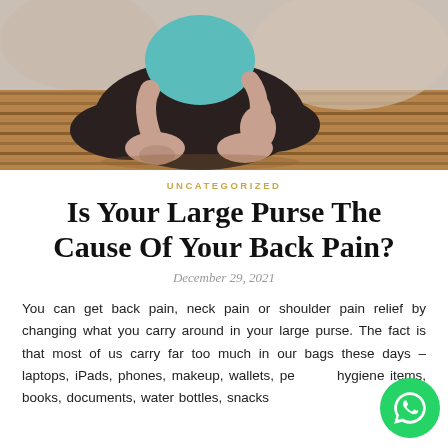[Figure (photo): Person sitting in lotus meditation pose on a wooden deck, wearing dark pants, with hands in mudra position. The image is cropped to show the lower body and hands.]
UNCATEGORIZED
Is Your Large Purse The Cause Of Your Back Pain?
December 29, 2021
You can get back pain, neck pain or shoulder pain relief by changing what you carry around in your large purse. The fact is that most of us carry far too much in our bags these days – laptops, iPads, phones, makeup, wallets, personal hygiene items, books, documents, water bottles, snacks